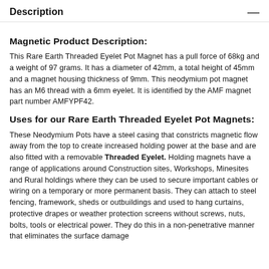Description
Magnetic Product Description:
This Rare Earth Threaded Eyelet Pot Magnet has a pull force of 68kg and a weight of 97 grams. It has a diameter of 42mm, a total height of 45mm and a magnet housing thickness of 9mm. This neodymium pot magnet has an M6 thread with a 6mm eyelet. It is identified by the AMF magnet part number AMFYPF42.
Uses for our Rare Earth Threaded Eyelet Pot Magnets:
These Neodymium Pots have a steel casing that constricts magnetic flow away from the top to create increased holding power at the base and are also fitted with a removable Threaded Eyelet. Holding magnets have a range of applications around Construction sites, Workshops, Minesites and Rural holdings where they can be used to secure important cables or wiring on a temporary or more permanent basis. They can attach to steel fencing, framework, sheds or outbuildings and used to hang curtains, protective drapes or weather protection screens without screws, nuts, bolts, tools or electrical power. They do this in a non-penetrative manner that eliminates the surface damage